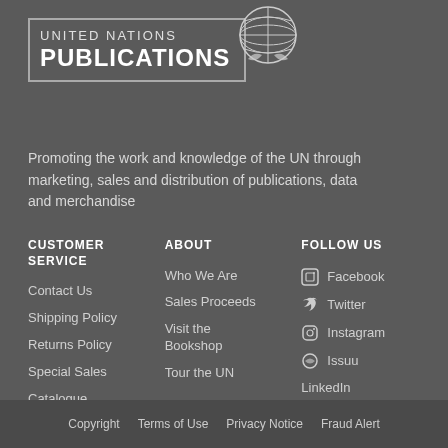[Figure (logo): United Nations Publications logo with UN globe emblem and bordered box]
Promoting the work and knowledge of the UN through marketing, sales and distribution of publications, data and merchandise
CUSTOMER SERVICE
Contact Us
Shipping Policy
Returns Policy
Special Sales
Catalogue
ABOUT
Who We Are
Sales Proceeds
Visit the Bookshop
Tour the UN
FOLLOW US
Facebook
Twitter
Instagram
Issuu
LinkedIn
Copyright   Terms of Use   Privacy Notice   Fraud Alert